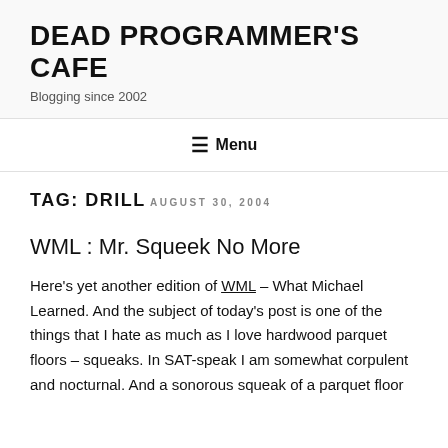DEAD PROGRAMMER'S CAFE
Blogging since 2002
☰ Menu
TAG: DRILL
AUGUST 30, 2004
WML : Mr. Squeek No More
Here's yet another edition of WML – What Michael Learned. And the subject of today's post is one of the things that I hate as much as I love hardwood parquet floors – squeaks. In SAT-speak I am somewhat corpulent and nocturnal. And a sonorous squeak of a parquet floor